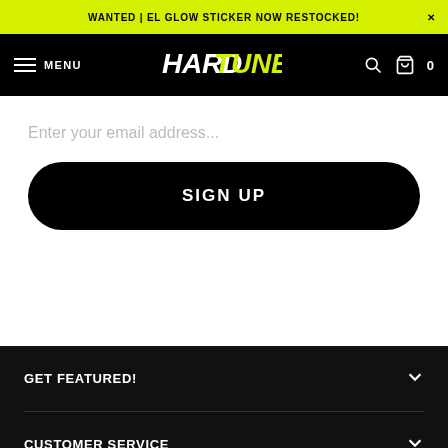WANTED | EL GLOW STICKER NOW RESTOCKED!
[Figure (logo): HardTuned logo in white italic text on black navbar with hamburger menu, search icon, and cart]
Enter your email address...
SIGN UP
GET FEATURED!
CUSTOMER SERVICE
INFO